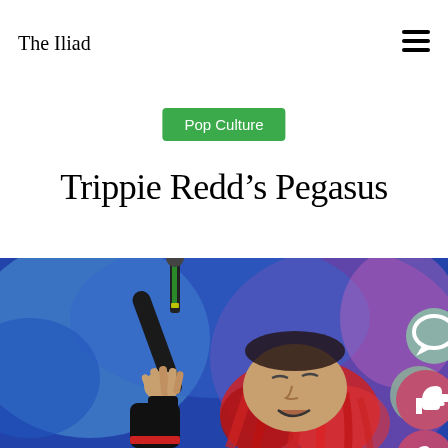The Iliad
Pop Culture
Trippie Redd’s Pegasus
[Figure (photo): Trippie Redd performing on stage holding a microphone, with red dreadlocks, wearing a black jacket with a red stripe, against a blue and purple bokeh background.]